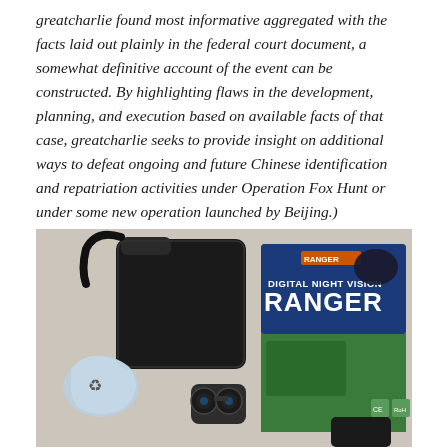greatcharlie found most informative aggregated with the facts laid out plainly in the federal court document, a somewhat definitive account of the event can be constructed. By highlighting flaws in the development, planning, and execution based on available facts of that case, greatcharlie seeks to provide insight on additional ways to defeat ongoing and future Chinese identification and repatriation activities under Operation Fox Hunt or under some new operation launched by Beijing.)
[Figure (photo): A photograph showing a digital night vision binocular set with its carrying case (black), the product box labeled 'Digital Night Vision RANGER', and a small bag with accessories, arranged on a light-colored surface.]